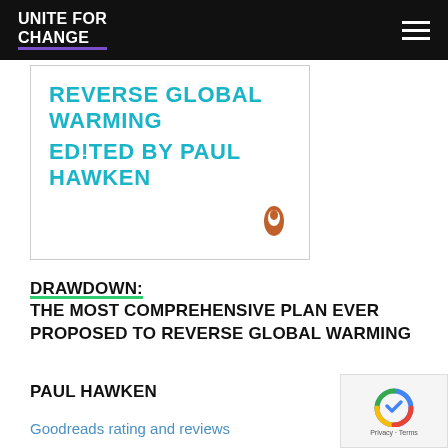UNITE FOR CHANGE
[Figure (photo): Book cover showing 'REVERSE GLOBAL WARMING EDITED BY PAUL HAWKEN' in cyan text on white background with Penguin publisher logo]
DRAWDOWN: THE MOST COMPREHENSIVE PLAN EVER PROPOSED TO REVERSE GLOBAL WARMING
PAUL HAWKEN
Goodreads rating and reviews